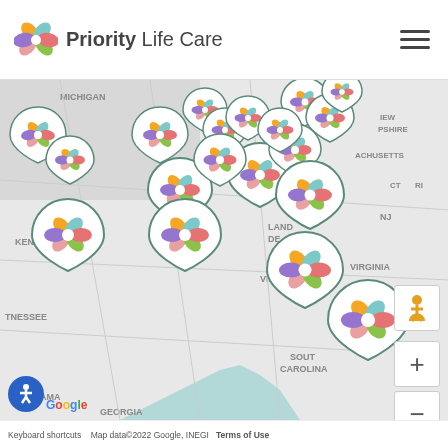[Figure (logo): Priority Life Care logo with colorful pinwheel icon]
[Figure (map): Google Maps screenshot showing eastern US states (Michigan, Kentucky, Tennessee, Alabama, Georgia, West Virginia, Virginia, South Carolina, New Jersey, Delaware, Maryland, Connecticut, RI, Massachusetts, New Hampshire) with multiple Priority Life Care location pins clustered in the northeast and mid-Atlantic regions]
Keyboard shortcuts   Map data©2022 Google, INEGI   Terms of Use